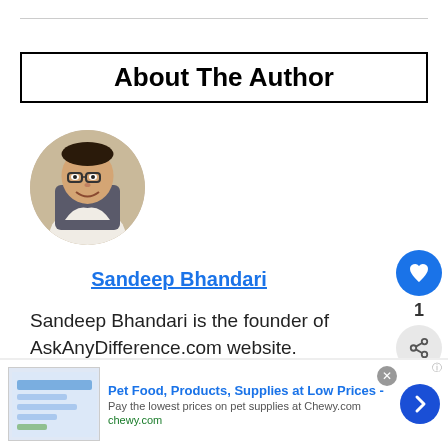About The Author
[Figure (photo): Circular profile photo of Sandeep Bhandari, a man with glasses smiling, seated in a chair]
Sandeep Bhandari
Sandeep Bhandari is the founder of AskAnyDifference.com website.
[Figure (infographic): Ad banner: Pet Food, Products, Supplies at Low Prices - chewy.com]